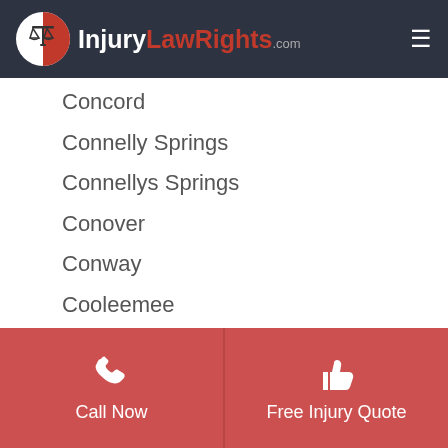InjuryLawRights.com
Concord
Connelly Springs
Connellys Springs
Conover
Conway
Cooleemee
Corapeake
Cordova
Cornelius
Call Now | Free Injury Quote